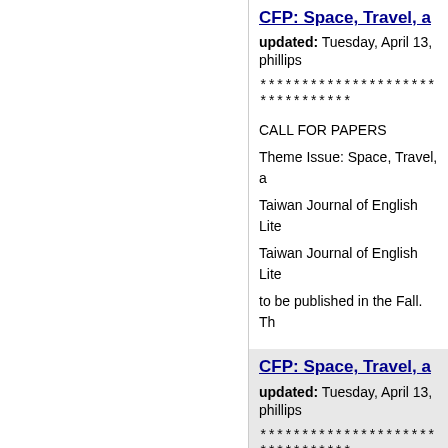CFP: Space, Travel, a
updated: Tuesday, April 13,
phillips
********************************
CALL FOR PAPERS
Theme Issue: Space, Travel, a
Taiwan Journal of English Lite
Taiwan Journal of English Lite
to be published in the Fall. Th
CFP: Space, Travel, a
updated: Tuesday, April 13,
phillips
********************************